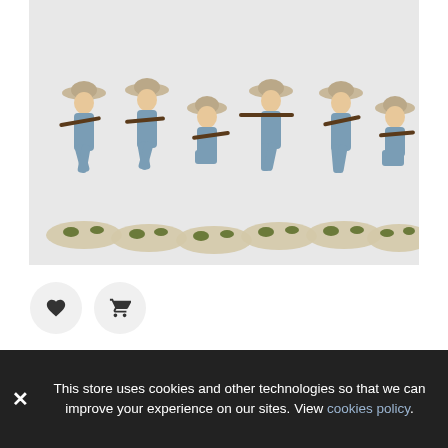[Figure (photo): Six painted miniature soldier figurines in light blue uniforms with wide-brim hats, holding rifles in various combat poses, mounted on oval bases with grass tufts, against a light grey background.]
Infantería Espanola Escaramuzando En Campana
€8.68
This store uses cookies and other technologies so that we can improve your experience on our sites. View cookies policy.